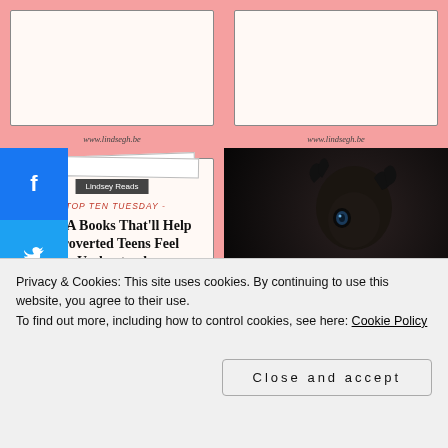[Figure (illustration): Top-left pink card with white inner box and cursive URL www.lindsegh.be at bottom]
[Figure (illustration): Top-right pink card with white inner box and cursive URL www.lindsegh.be at bottom]
[Figure (illustration): Middle-left pink blog card with 'Lindsey Reads' dark badge, red italic '- TOP TEN TUESDAY -' subtitle, bold title 'Ten YA Books That'll Help Introverted Teens Feel Understood', small subtitle '(AKA BOOKS FOR MY YOUNGER SELF)', and cursive URL www.lindsegh.be]
[Figure (illustration): Middle-right dark card with anime Death Note character artwork, text 'Ten Reasons To Love DEATH NOTE' in light gray serif font]
[Figure (illustration): Bottom-left pink card with 'Lindsey Reads' badge, partially visible]
[Figure (illustration): Bottom-right pink card with 'Lindsey Reads' badge, partially visible]
Privacy & Cookies: This site uses cookies. By continuing to use this website, you agree to their use.
To find out more, including how to control cookies, see here: Cookie Policy
Close and accept